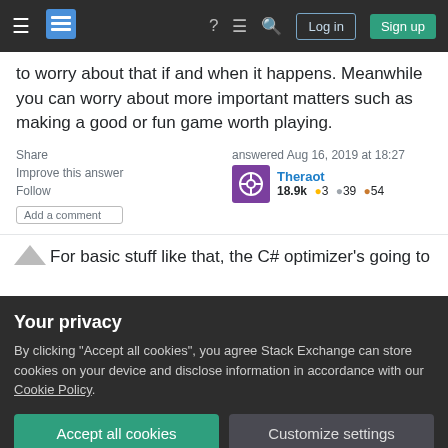Stack Exchange navigation bar with hamburger menu, logo, icons, Log in and Sign up buttons
to worry about that if and when it happens. Meanwhile you can worry about more important matters such as making a good or fun game worth playing.
Share  Improve this answer  Follow  Add a comment
answered Aug 16, 2019 at 18:27
Theraot
18.9k  ●3  ●39  ●54
For basic stuff like that, the C# optimizer's going to
Your privacy
By clicking "Accept all cookies", you agree Stack Exchange can store cookies on your device and disclose information in accordance with our Cookie Policy.
Accept all cookies  Customize settings
be inlined (property getters and setters are